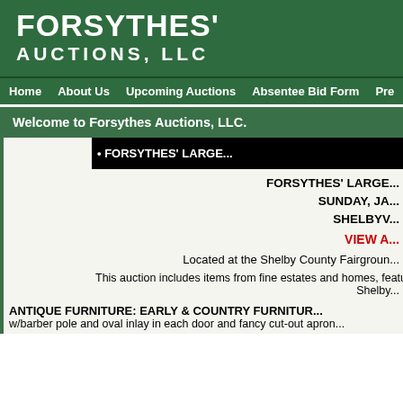FORSYTHES' AUCTIONS, LLC
Home   About Us   Upcoming Auctions   Absentee Bid Form   Pre...
Welcome to Forsythes Auctions, LLC.
• FORSYTHES' LARGE...
FORSYTHES' LARGE... SUNDAY, JA... SHELBYV...
VIEW A...
Located at the Shelby County Fairgroun...
This auction includes items from fine estates and homes, featuring... Shelby...
ANTIQUE FURNITURE: EARLY & COUNTRY FURNITUR...
w/barber pole and oval inlay in each door and fancy cut-out apron...